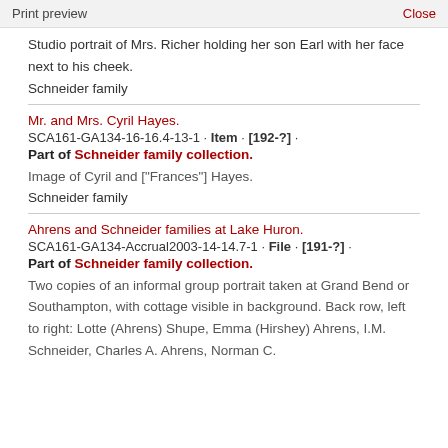Print preview    Close
Studio portrait of Mrs. Richer holding her son Earl with her face next to his cheek.
Schneider family
Mr. and Mrs. Cyril Hayes.
SCA161-GA134-16-16.4-13-1 · Item · [192-?] ·
Part of Schneider family collection.
Image of Cyril and ["Frances"] Hayes.
Schneider family
Ahrens and Schneider families at Lake Huron.
SCA161-GA134-Accrual2003-14-14.7-1 · File · [191-?] ·
Part of Schneider family collection.
Two copies of an informal group portrait taken at Grand Bend or Southampton, with cottage visible in background. Back row, left to right: Lotte (Ahrens) Shupe, Emma (Hirshey) Ahrens, I.M. Schneider, Charles A. Ahrens, Norman C.